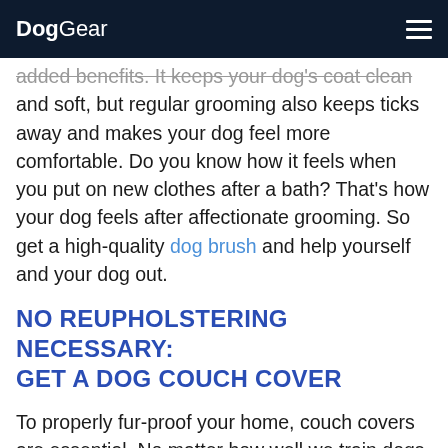DogGear
added benefits. It keeps your dog's coat clean and soft, but regular grooming also keeps ticks away and makes your dog feel more comfortable. Do you know how it feels when you put on new clothes after a bath? That's how your dog feels after affectionate grooming. So get a high-quality dog brush and help yourself and your dog out.
NO REUPHOLSTERING NECESSARY: GET A DOG COUCH COVER
To properly fur-proof your home, couch covers are essential. No matter how well we train dogs to keep off the couch, they still find a way to sneak in behind us and lay their butts